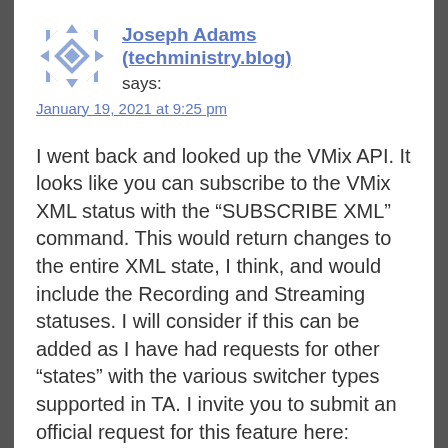Joseph Adams (techministry.blog) says:
January 19, 2021 at 9:25 pm
I went back and looked up the VMix API. It looks like you can subscribe to the VMix XML status with the “SUBSCRIBE XML” command. This would return changes to the entire XML state, I think, and would include the Recording and Streaming statuses. I will consider if this can be added as I have had requests for other “states” with the various switcher types supported in TA. I invite you to submit an official request for this feature here:
https://github.com/josephadams/TallyArbite